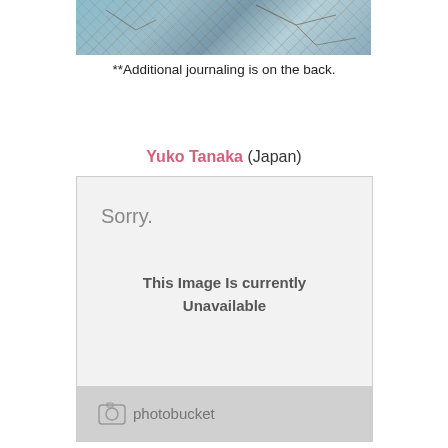[Figure (photo): Cropped top portion of a mixed-media artwork with blue/teal background, tree branches, and map-like textures]
**Additional journaling is on the back.
Yuko Tanaka (Japan)
[Figure (screenshot): Photobucket image placeholder showing 'Sorry. This Image Is currently Unavailable' with Photobucket logo at bottom]